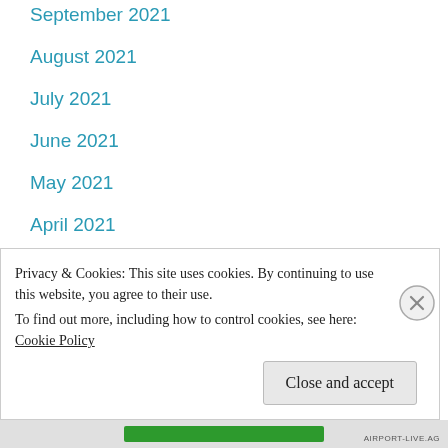September 2021
August 2021
July 2021
June 2021
May 2021
April 2021
March 2021
February 2021
November 2020
October 2020
Privacy & Cookies: This site uses cookies. By continuing to use this website, you agree to their use.
To find out more, including how to control cookies, see here: Cookie Policy
Close and accept